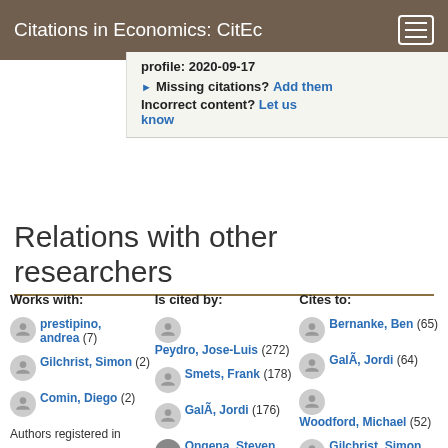Citations in Economics: CitEc
profile: 2020-09-17
Missing citations? Add them
Incorrect content? Let us know
Relations with other researchers
Works with:
prestipino, andrea (7)
Gilchrist, Simon (2)
Comin, Diego (2)
Authors registered in
Is cited by:
Peydro, Jose-Luis (272)
Smets, Frank (178)
GalÃ, Jordi (176)
Ongena, Steven (31)
Cites to:
Bernanke, Ben (65)
GalÃ, Jordi (64)
Woodford, Michael (52)
Gilchrist, Simon